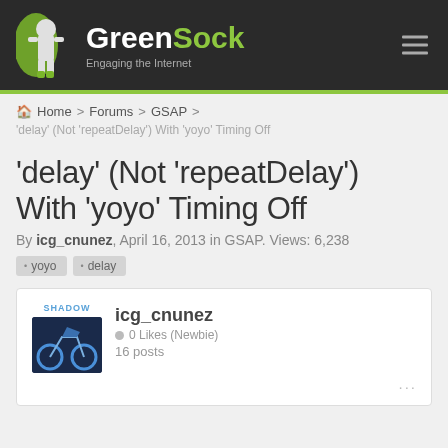GreenSock — Engaging the Internet
Home > Forums > GSAP >
'delay' (Not 'repeatDelay') With 'yoyo' Timing Off
'delay' (Not 'repeatDelay') With 'yoyo' Timing Off
By icg_cnunez, April 16, 2013 in GSAP. Views: 6,238
yoyo
delay
icg_cnunez  0 Likes (Newbie)  16 posts